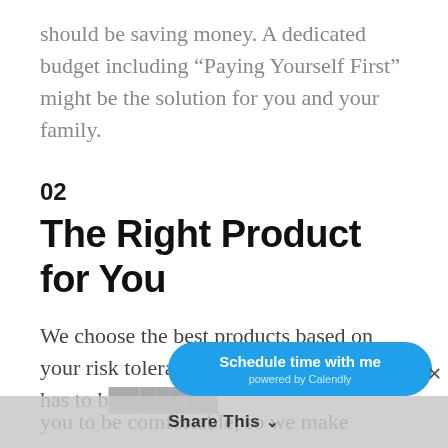should be saving money. A dedicated budget including “Paying Yourself First” might be the solution for you and your family.
02
The Right Product for You
We choose the best products based on your risk tolerance and time horizon. It has to b[...] you to be comfortable, so we make